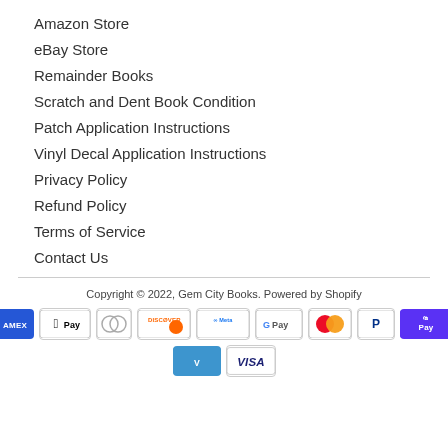Amazon Store
eBay Store
Remainder Books
Scratch and Dent Book Condition
Patch Application Instructions
Vinyl Decal Application Instructions
Privacy Policy
Refund Policy
Terms of Service
Contact Us
Copyright © 2022, Gem City Books. Powered by Shopify
[Figure (other): Payment method icons: American Express, Apple Pay, Diners Club, Discover, Meta Pay, Google Pay, Mastercard, PayPal, Shop Pay, Venmo, Visa]